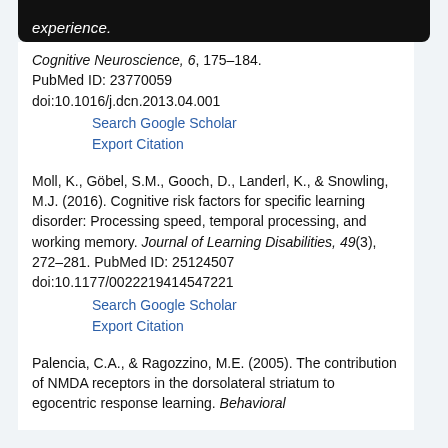experience.
Cognitive Neuroscience, 6, 175–184. PubMed ID: 23770059 doi:10.1016/j.dcn.2013.04.001
Search Google Scholar
Export Citation
Moll, K., Göbel, S.M., Gooch, D., Landerl, K., & Snowling, M.J. (2016). Cognitive risk factors for specific learning disorder: Processing speed, temporal processing, and working memory. Journal of Learning Disabilities, 49(3), 272–281. PubMed ID: 25124507 doi:10.1177/0022219414547221
Search Google Scholar
Export Citation
Palencia, C.A., & Ragozzino, M.E. (2005). The contribution of NMDA receptors in the dorsolateral striatum to egocentric response learning. Behavioral